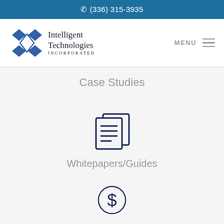(336) 315-3935
[Figure (logo): Intelligent Technologies Incorporated logo with geometric diamond/cross SVG mark and serif text]
Case Studies
[Figure (illustration): Document/pages icon representing Whitepapers/Guides]
Whitepapers/Guides
[Figure (illustration): Dollar sign in circle icon, partially visible at bottom of page]